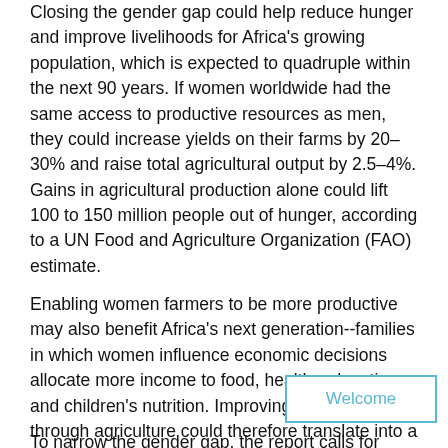Closing the gender gap could help reduce hunger and improve livelihoods for Africa's growing population, which is expected to quadruple within the next 90 years. If women worldwide had the same access to productive resources as men, they could increase yields on their farms by 20–30% and raise total agricultural output by 2.5–4%. Gains in agricultural production alone could lift 100 to 150 million people out of hunger, according to a UN Food and Agriculture Organization (FAO) estimate.
Enabling women farmers to be more productive may also benefit Africa's next generation--families in which women influence economic decisions allocate more income to food, health, education and children's nutrition. Improving gender equality through agriculture could therefore translate into a generation of Africans who are better fed, better educated and better equipped to make productive contributions to their economies, within agriculture and...
To narrow the gender gap, the report calls for African